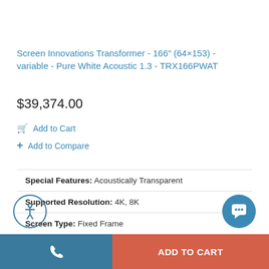Screen Innovations Transformer - 166" (64×153) - variable - Pure White Acoustic 1.3 - TRX166PWAT
$39,374.00
Add to Cart
Add to Compare
| Special Features: | Acoustically Transparent |
| Supported Resolution: | 4K, 8K |
| Screen Type: | Fixed Frame |
| Mount Type: | Wall |